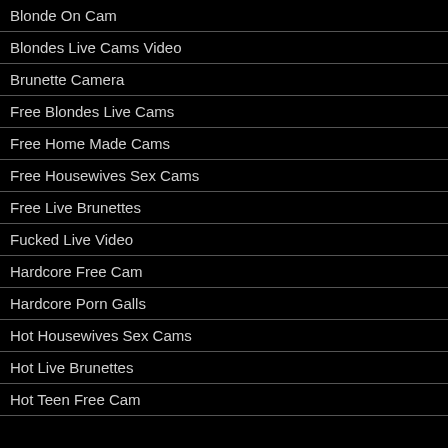Blonde On Cam
Blondes Live Cams Video
Brunette Camera
Free Blondes Live Cams
Free Home Made Cams
Free Housewives Sex Cams
Free Live Brunettes
Fucked Live Video
Hardcore Free Cam
Hardcore Porn Galls
Hot Housewives Sex Cams
Hot Live Brunettes
Hot Teen Free Cam